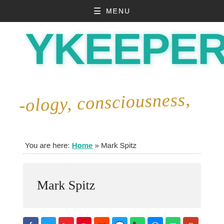≡ MENU
[Figure (logo): Website logo showing 'SKYKEEPER J' in large teal bold letters and '-ology, consciousness,' in gold italic script below]
You are here: Home » Mark Spitz
Mark Spitz
[Figure (infographic): Social sharing buttons: Facebook, Twitter, Flipboard, Pinterest, Reddit, Chat, WhatsApp, Messenger, Email, Print]